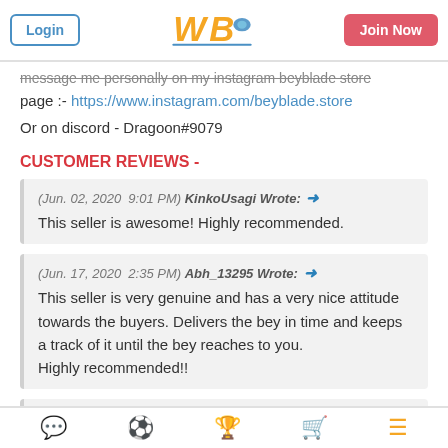Login | WBO Logo | Join Now
message me personally on my instagram beyblade store page :- https://www.instagram.com/beyblade.store
Or on discord - Dragoon#9079
CUSTOMER REVIEWS -
(Jun. 02, 2020  9:01 PM) KinkoUsagi Wrote: → This seller is awesome! Highly recommended.
(Jun. 17, 2020  2:35 PM) Abh_13295 Wrote: → This seller is very genuine and has a very nice attitude towards the buyers. Delivers the bey in time and keeps a track of it until the bey reaches to you. Highly recommended!!
(Jul. 07, 2020  3:32 PM) Therealv Wrote: → Just received my order from this seller. He is Very fast and
Navigation icons